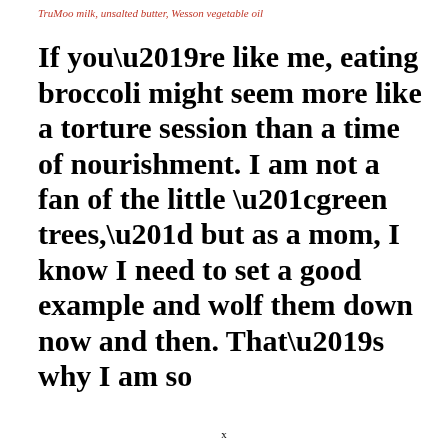TruMoo milk, unsalted butter, Wesson vegetable oil
If you’re like me, eating broccoli might seem more like a torture session than a time of nourishment. I am not a fan of the little “green trees,” but as a mom, I know I need to set a good example and wolf them down now and then. That’s why I am so
x